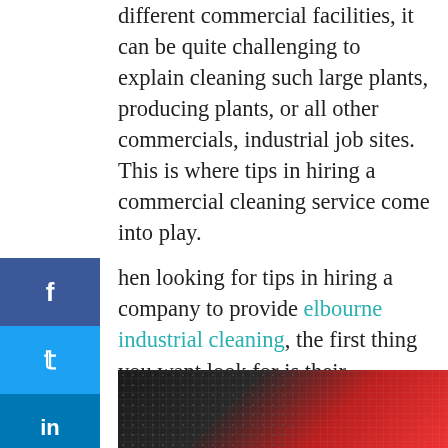different commercial facilities, it can be quite challenging to explain cleaning such large plants, producing plants, or all other commercials, industrial job sites. This is where tips in hiring a commercial cleaning service come into play.
When looking for tips in hiring a company to provide Melbourne industrial cleaning, the first thing you want to look for is their experience level. Experience is a definite plus when it comes to any job. The more experience an industrial cleaning company has, the better. There are individual companies that have years on years' worth of experience in providing commercial cleaning services, and those are the ones to take a closer look at.
[Figure (photo): Industrial machinery photo showing dark perforated metal surface with red diagonal structural element]